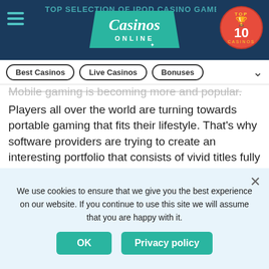TOP SELECTION OF IPOD CASINO GAMES — Casinos Online — Top 10 Casinos
Best Casinos | Live Casinos | Bonuses
Players all over the world are turning towards portable gaming that fits their lifestyle. That's why software providers are trying to create an interesting portfolio that consists of vivid titles fully supportable by iPod Touch devices. That means that existing titles often get makeovers, in addition to a plethora of new iPod-oriented games. We scoured the vast network of online casino games and selected only the best games for our players.
We use cookies to ensure that we give you the best experience on our website. If you continue to use this site we will assume that you are happy with it.
OK | Privacy policy